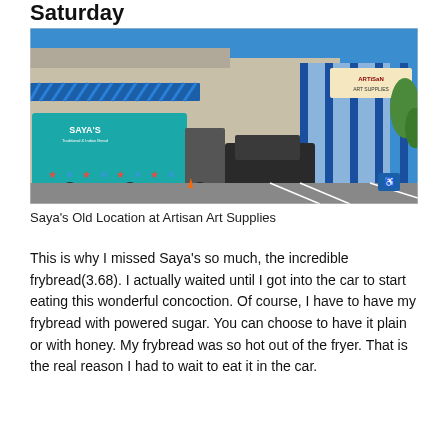Saturday
[Figure (photo): A food truck with 'Saya's' branding (teal truck with colorful star/bird decorations) parked in front of a strip mall building with blue awning and an Artisan Art Supplies store sign visible on the right side. Clear blue sky, parking lot with a black SUV.]
Saya's Old Location at Artisan Art Supplies
This is why I missed Saya's so much, the incredible frybread(3.68). I actually waited until I got into the car to start eating this wonderful concoction. Of course, I have to have my frybread with powered sugar. You can choose to have it plain or with honey. My frybread was so hot out of the fryer. That is the real reason I had to wait to eat it in the car.